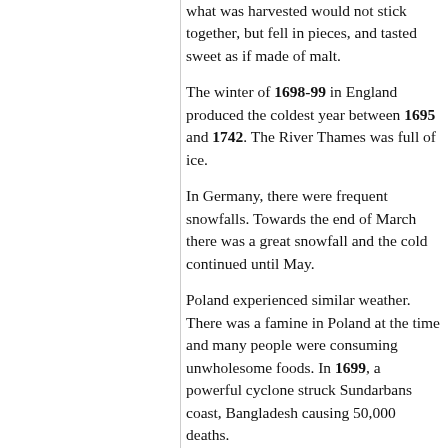what was harvested would not stick together, but fell in pieces, and tasted sweet as if made of malt.
The winter of 1698-99 in England produced the coldest year between 1695 and 1742. The River Thames was full of ice.
In Germany, there were frequent snowfalls. Towards the end of March there was a great snowfall and the cold continued until May.
Poland experienced similar weather. There was a famine in Poland at the time and many people were consuming unwholesome foods. In 1699, a powerful cyclone struck Sundarbans coast, Bangladesh causing 50,000 deaths.
The weather of 1699 in Germany produced a crop of wheat with black...